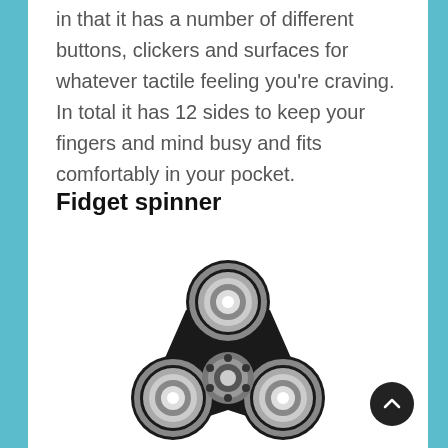in that it has a number of different buttons, clickers and surfaces for whatever tactile feeling you're craving. In total it has 12 sides to keep your fingers and mind busy and fits comfortably in your pocket.
Fidget spinner
[Figure (photo): A black three-pronged fidget spinner with silver metal bearing rings at each prong tip and a central bearing hub visible]